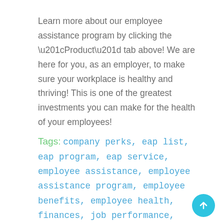Learn more about our employee assistance program by clicking the “Product” tab above! We are here for you, as an employer, to make sure your workplace is healthy and thriving! This is one of the greatest investments you can make for the health of your employees!
Tags: company perks, eap list, eap program, eap service, employee assistance, employee assistance program, employee benefits, employee health, finances, job performance, leadership training, new year, office rage, performance